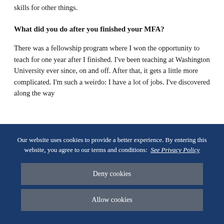skills for other things.
What did you do after you finished your MFA?
There was a fellowship program where I won the opportunity to teach for one year after I finished. I've been teaching at Washington University ever since, on and off. After that, it gets a little more complicated. I'm such a weirdo: I have a lot of jobs. I've discovered along the way
Our website uses cookies to provide a better experience. By entering this website, you agree to our terms and conditions:  See Privacy Policy
Deny cookies
Allow cookies